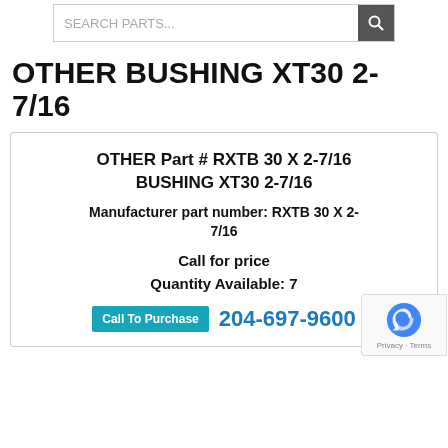[Figure (screenshot): Search parts input box with magnifying glass search button]
OTHER BUSHING XT30 2-7/16
OTHER Part # RXTB 30 X 2-7/16 BUSHING XT30 2-7/16
Manufacturer part number: RXTB 30 X 2-7/16
Call for price
Quantity Available: 7
Call To Purchase  204-697-9600